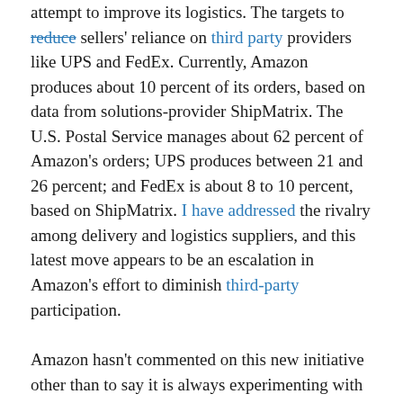attempt to improve its logistics. The targets to reduce sellers' reliance on third party providers like UPS and FedEx. Currently, Amazon produces about 10 percent of its orders, based on data from solutions-provider ShipMatrix. The U.S. Postal Service manages about 62 percent of Amazon's orders; UPS produces between 21 and 26 percent; and FedEx is about 8 to 10 percent, based on ShipMatrix. I have addressed the rivalry among delivery and logistics suppliers, and this latest move appears to be an escalation in Amazon's effort to diminish third-party participation.
Amazon hasn't commented on this new initiative other than to say it is always experimenting with new ways to deliver orders to customers more quickly.